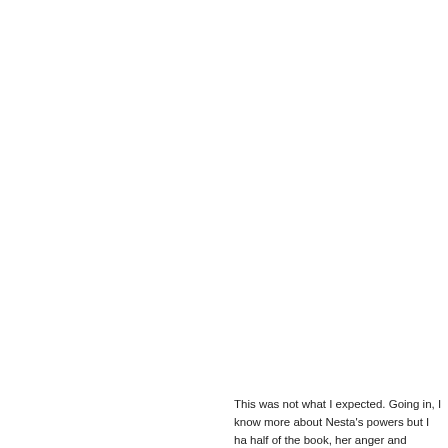[Figure (illustration): Book cover of 'Silver Flame' by Sarah J. Maas. Dark grey/slate background with large ornate orange decorative mask/butterfly motif in center. White bold title text 'SILVER FLAME' at top, author name 'SARAH J. MAAS' in large white sans-serif at bottom, subtitle '#1 NEW YORK TIMES BESTSELLING...' in smaller white text below author name. Cover is cropped on right side.]
This was not what I expected. Going in, I know more about Nesta's powers but I ha half of the book, her anger and attitude is To the point where I almost didn't care ar things picked up. The only way I can dea sentences: